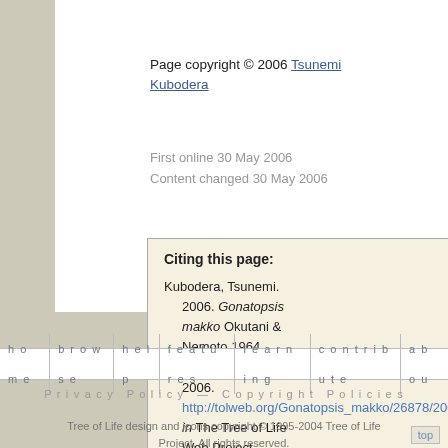Page copyright © 2006 Tsunemi Kubodera
First online 30 May 2006
Content changed 30 May 2006
Citing this page:

Kubodera, Tsunemi. 2006. Gonatopsis makko Okutani & Nemoto 1964. Version 30 May 2006. http://tolweb.org/Gonatopsis_makko/26878/2006.05.30 in The Tree of Life Web Project, http://tolweb.org
home  browse  help  features  learning  contribute  about
Privacy Policy — Copyright Policies
Tree of Life design and icons copyright © 1995-2004 Tree of Life Project. All rights reserved.